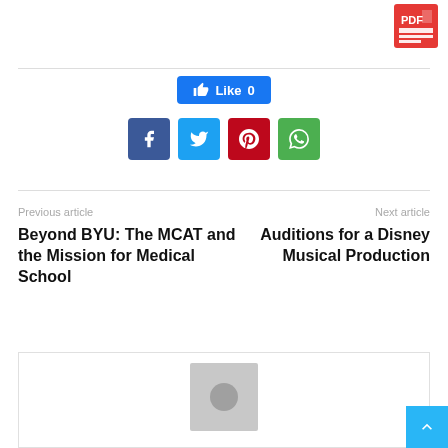[Figure (logo): Red PDF icon in top right corner]
[Figure (infographic): Facebook Like button showing count 0, and four social share icons: Facebook (blue), Twitter (light blue), Pinterest (red), WhatsApp (green)]
Previous article
Beyond BYU: The MCAT and the Mission for Medical School
Next article
Auditions for a Disney Musical Production
[Figure (photo): Gray avatar placeholder image inside a bordered box]